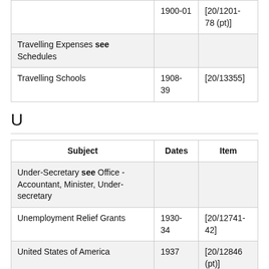| Subject | Dates | Item |
| --- | --- | --- |
|  | 1900-01 | [20/1201-
78 (pt)] |
| Travelling Expenses see Schedules |  |  |
| Travelling Schools | 1908-39 | [20/13355] |
U
| Subject | Dates | Item |
| --- | --- | --- |
| Under-Secretary see Office - Accountant, Minister, Under-secretary |  |  |
| Unemployment Relief Grants | 1930-34 | [20/12741-42] |
| United States of America | 1937 | [20/12846 (pt)] |